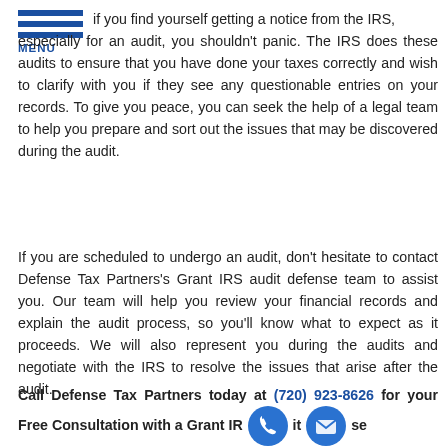MENU
if you find yourself getting a notice from the IRS, especially for an audit, you shouldn't panic. The IRS does these audits to ensure that you have done your taxes correctly and wish to clarify with you if they see any questionable entries on your records. To give you peace, you can seek the help of a legal team to help you prepare and sort out the issues that may be discovered during the audit.
If you are scheduled to undergo an audit, don't hesitate to contact Defense Tax Partners's Grant IRS audit defense team to assist you. Our team will help you review your financial records and explain the audit process, so you'll know what to expect as it proceeds. We will also represent you during the audits and negotiate with the IRS to resolve the issues that arise after the audit.
Call Defense Tax Partners today at (720) 923-8626 for your Free Consultation with a Grant IRS audit defense Lawyer!